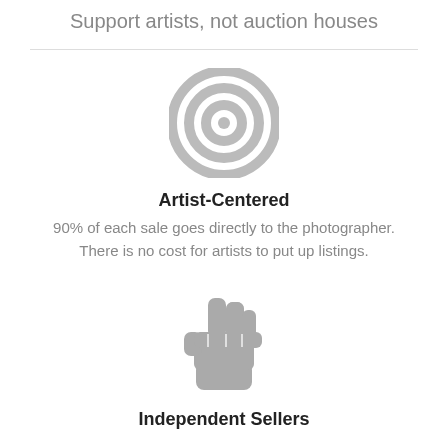Support artists, not auction houses
[Figure (illustration): Concentric circles target/bullseye icon in light gray]
Artist-Centered
90% of each sale goes directly to the photographer. There is no cost for artists to put up listings.
[Figure (illustration): Raised fist icon in gray representing independent sellers]
Independent Sellers